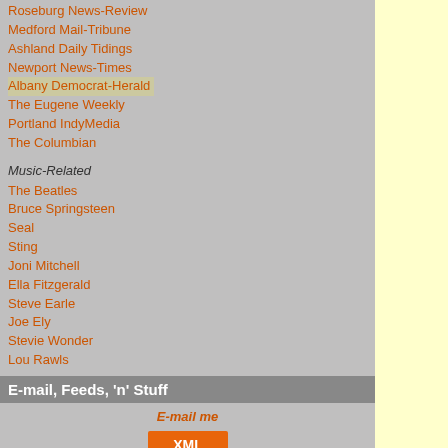Roseburg News-Review
Medford Mail-Tribune
Ashland Daily Tidings
Newport News-Times
Albany Democrat-Herald
The Eugene Weekly
Portland IndyMedia
The Columbian
Music-Related
The Beatles
Bruce Springsteen
Seal
Sting
Joni Mitchell
Ella Fitzgerald
Steve Earle
Joe Ely
Stevie Wonder
Lou Rawls
E-mail, Feeds, 'n' Stuff
E-mail me
[Figure (other): XML feed button]
[What is this?]
[Figure (other): GeoURL button]
[Figure (map): 760 Pageviews Aug 1st - Sep 1st world map widget]